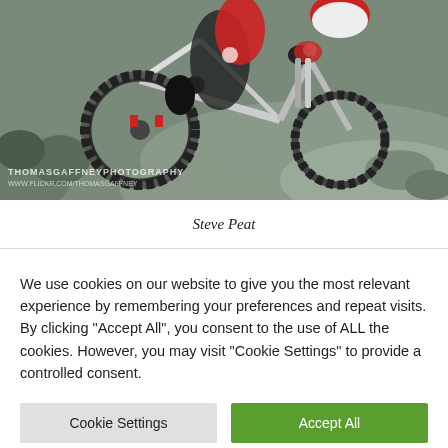[Figure (photo): A mountain bike rider in red and black gear navigating rocky terrain on a white downhill bike. The photo has a watermark reading 'ThomasGaffneyPhotography www.flickr.com/thomasgaffney' in the bottom left corner.]
Steve Peat
We use cookies on our website to give you the most relevant experience by remembering your preferences and repeat visits. By clicking "Accept All", you consent to the use of ALL the cookies. However, you may visit "Cookie Settings" to provide a controlled consent.